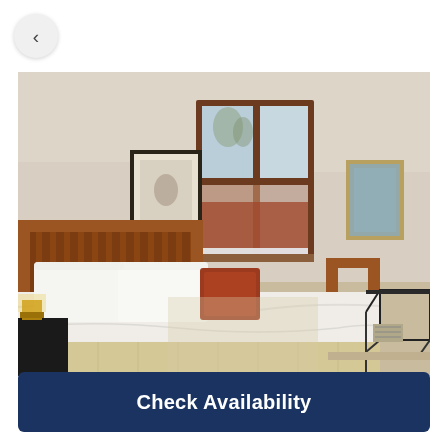[Figure (photo): Hotel/vacation rental bedroom with a wood-frame queen bed with white linens and a rust-colored throw pillow, framed artwork on the wall, a large window with wood frame overlooking a snowy outdoor scene with red roof, nightstand with lamp on left, luggage rack on right, and beige carpet floor.]
Check Availability